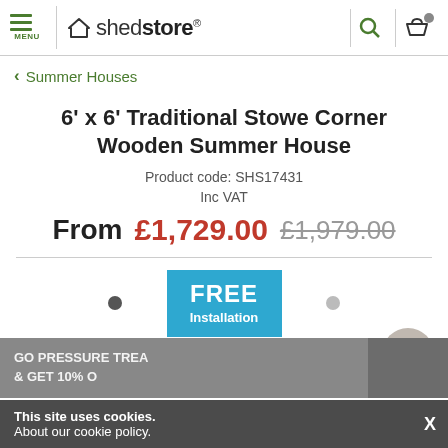[Figure (screenshot): Shedstore website header with menu button, logo, search icon, and basket icon]
< Summer Houses
6' x 6' Traditional Stowe Corner Wooden Summer House
Product code: SHS17431
Inc VAT
From £1,729.00  £1,979.00
[Figure (infographic): FREE Installation badge in blue]
This site uses cookies. About our cookie policy.